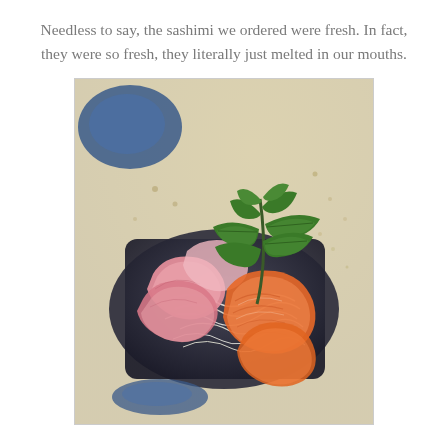Needless to say, the sashimi we ordered were fresh. In fact, they were so fresh, they literally just melted in our mouths.
[Figure (photo): A plate of fresh sashimi on a dark slate board, featuring slices of pink tuna and bright orange salmon, garnished with white daikon radish shreds and a green leafy plant sprig, set on a light-colored table.]